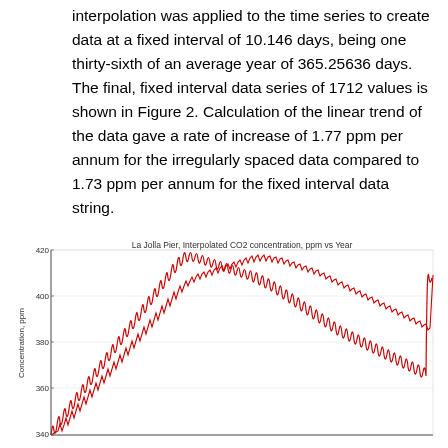interpolation was applied to the time series to create data at a fixed interval of 10.146 days, being one thirty-sixth of an average year of 365.25636 days. The final, fixed interval data series of 1712 values is shown in Figure 2. Calculation of the linear trend of the data gave a rate of increase of 1.77 ppm per annum for the irregularly spaced data compared to 1.73 ppm per annum for the fixed interval data string.
[Figure (continuous-plot): Line chart showing interpolated CO2 concentration in ppm versus year at La Jolla Pier. The data shows an upward trend with seasonal oscillations, rising from approximately 330 ppm to over 415 ppm.]